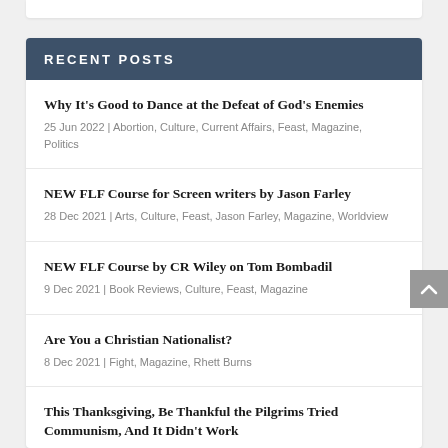RECENT POSTS
Why It’s Good to Dance at the Defeat of God’s Enemies | 25 Jun 2022 | Abortion, Culture, Current Affairs, Feast, Magazine, Politics
NEW FLF Course for Screen writers by Jason Farley | 28 Dec 2021 | Arts, Culture, Feast, Jason Farley, Magazine, Worldview
NEW FLF Course by CR Wiley on Tom Bombadil | 9 Dec 2021 | Book Reviews, Culture, Feast, Magazine
Are You a Christian Nationalist? | 8 Dec 2021 | Fight, Magazine, Rhett Burns
This Thanksgiving, Be Thankful the Pilgrims Tried Communism, And It Didn’t Work